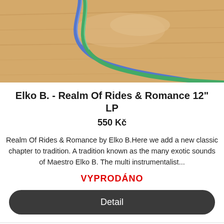[Figure (photo): Photo of blue and green cables/wires on a wooden surface, cropped at top]
Elko B. - Realm Of Rides & Romance 12" LP
550 Kč
Realm Of Rides & Romance by Elko B.Here we add a new classic chapter to tradition. A tradition known as the many exotic sounds of Maestro Elko B. The multi instrumentalist...
VYPRODÁNO
Detail
Kód: 1230001
[Figure (photo): Photo of a dark textured surface with a geometric pattern, partially visible album or product]
NOVINKA
TIP